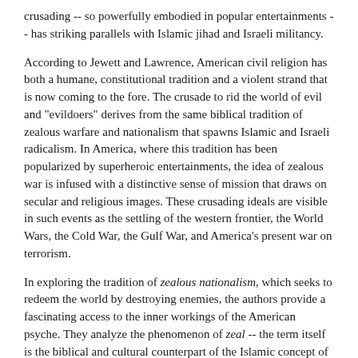crusading -- so powerfully embodied in popular entertainments -- has striking parallels with Islamic jihad and Israeli militancy.
According to Jewett and Lawrence, American civil religion has both a humane, constitutional tradition and a violent strand that is now coming to the fore. The crusade to rid the world of evil and "evildoers" derives from the same biblical tradition of zealous warfare and nationalism that spawns Islamic and Israeli radicalism. In America, where this tradition has been popularized by superheroic entertainments, the idea of zealous war is infused with a distinctive sense of mission that draws on secular and religious images. These crusading ideals are visible in such events as the settling of the western frontier, the World Wars, the Cold War, the Gulf War, and America's present war on terrorism.
In exploring the tradition of zealous nationalism, which seeks to redeem the world by destroying enemies, the authors provide a fascinating access to the inner workings of the American psyche. They analyze the phenomenon of zeal -- the term itself is the biblical and cultural counterpart of the Islamic concept of jihad -- and address such consequential topics as the conspiracy theory of evil, the problem of stereotyping enemies, the mystique of violence, the obsession with victory, and the worship of national symbols such as flags.